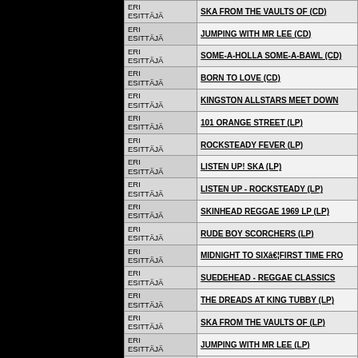| ESITTÄJÄ | Title |
| --- | --- |
| ERI ESITTÄJÄ | SKA FROM THE VAULTS OF (CD) |
| ERI ESITTÄJÄ | JUMPING WITH MR LEE (CD) |
| ERI ESITTÄJÄ | SOME-A-HOLLA SOME-A-BAWL (CD) |
| ERI ESITTÄJÄ | BORN TO LOVE (CD) |
| ERI ESITTÄJÄ | KINGSTON ALLSTARS MEET DOWN |
| ERI ESITTÄJÄ | 101 ORANGE STREET (LP) |
| ERI ESITTÄJÄ | ROCKSTEADY FEVER (LP) |
| ERI ESITTÄJÄ | LISTEN UP! SKA (LP) |
| ERI ESITTÄJÄ | LISTEN UP - ROCKSTEADY (LP) |
| ERI ESITTÄJÄ | SKINHEAD REGGAE 1969 LP (LP) |
| ERI ESITTÄJÄ | RUDE BOY SCORCHERS (LP) |
| ERI ESITTÄJÄ | MIDNIGHT TO SIXâ€¦FIRST TIME FRO |
| ERI ESITTÄJÄ | SUEDEHEAD - REGGAE CLASSICS |
| ERI ESITTÄJÄ | THE DREADS AT KING TUBBY (LP) |
| ERI ESITTÄJÄ | SKA FROM THE VAULTS OF (LP) |
| ERI ESITTÄJÄ | JUMPING WITH MR LEE (LP) |
| ERI ESITTÄJÄ | SOME-A-HOLLA SOME-A-BAWL (LP) |
| ERI ESITTÄJÄ | BORN TO LOVE (LP) |